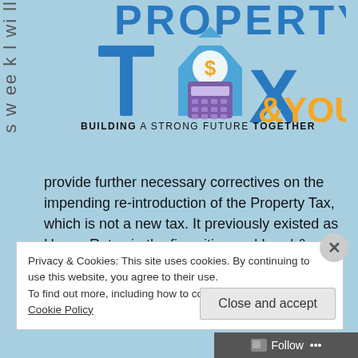s w ee k l wi ll
[Figure (logo): Property Tax & You logo with blue letters, orange '&YOU', house icon with dollar sign, calculator graphic. Tagline: BUILDING A STRONG FUTURE TOGETHER]
provide further necessary correctives on the impending re-introduction of the Property Tax, which is not a new tax. It previously existed as House Rates in the five cities and Land &
Privacy & Cookies: This site uses cookies. By continuing to use this website, you agree to their use.
To find out more, including how to control cookies, see here: Cookie Policy
Close and accept